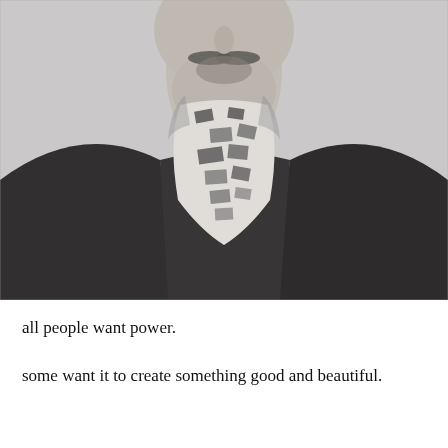[Figure (photo): Black and white vintage photograph showing a man from the chest up, face partially visible (lower face with mustache), wearing a dark jacket and a patterned cravat/neckerchief with a checked or paisley design.]
all people want power.
some want it to create something good and beautiful.